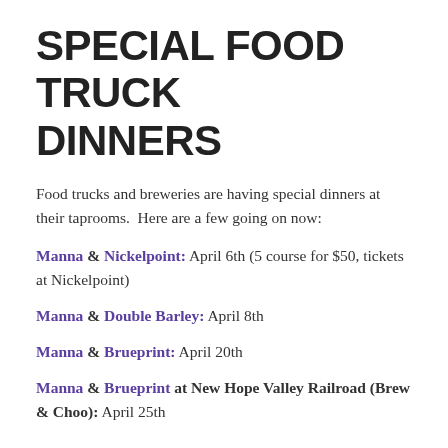SPECIAL FOOD TRUCK DINNERS
Food trucks and breweries are having special dinners at their taprooms.  Here are a few going on now:
Manna & Nickelpoint: April 6th (5 course for $50, tickets at Nickelpoint)
Manna & Double Barley: April 8th
Manna & Brueprint: April 20th
Manna & Brueprint at New Hope Valley Railroad (Brew & Choo): April 25th
FOOD TRUCKS HIRING